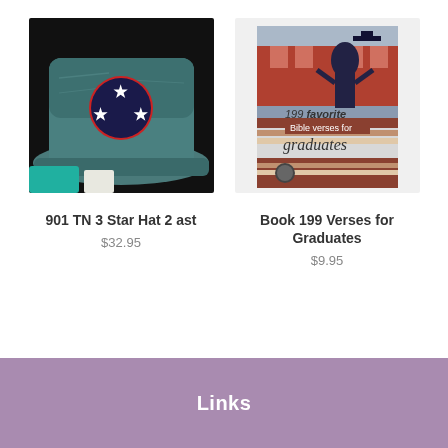[Figure (photo): A teal/blue distressed baseball hat with a circular patch featuring three white stars on a navy/red background (Tennessee tri-star logo)]
901 TN 3 Star Hat 2 ast
$32.95
[Figure (photo): Book cover for '199 favorite Bible verses for graduates' showing a graduate tossing their cap in the air with a building in the background]
Book 199 Verses for Graduates
$9.95
Links